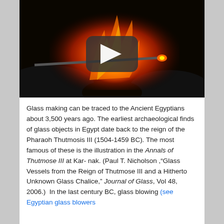[Figure (screenshot): Video player thumbnail showing glassblowing process with intense orange fire and a metal rod, with a YouTube-style dark play button overlay in the center.]
Glass making can be traced to the Ancient Egyptians about 3,500 years ago. The earliest archaeological finds of glass objects in Egypt date back to the reign of the Pharaoh Thutmosis III (1504-1459 BC). The most famous of these is the illustration in the Annals of Thutmose III at Kar- nak. (Paul T. Nicholson ,"Glass Vessels from the Reign of Thutmose III and a Hitherto Unknown Glass Chalice," Journal of Glass, Vol 48, 2006.)  In the last century BC, glass blowing (see Egyptian glass blowers